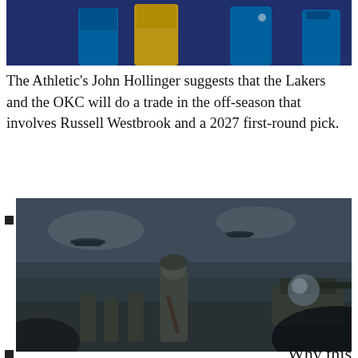[Figure (photo): Basketball players in blue and yellow uniforms, Lakers vs OKC]
The Athletic's John Hollinger suggests that the Lakers and the OKC will do a trade in the off-season that involves Russell Westbrook and a 2027 first-round pick.
[Figure (photo): War scene with soldiers running on beach with aircraft overhead, ad for Enlisted game]
Ad•Enlisted